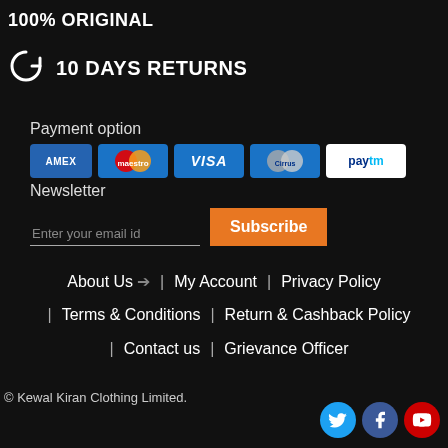100% ORIGINAL
10 DAYS RETURNS
Payment option
[Figure (other): Payment method logos: AMEX, Maestro, VISA, Cirrus, Paytm]
Newsletter
Enter your email id  Subscribe
About Us | My Account | Privacy Policy
| Terms & Conditions | Return & Cashback Policy
| Contact us | Grievance Officer
© Kewal Kiran Clothing Limited.
[Figure (other): Social media icons: Twitter, Facebook, YouTube]